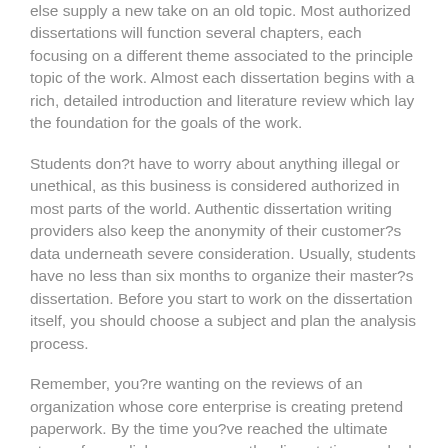else supply a new take on an old topic. Most authorized dissertations will function several chapters, each focusing on a different theme associated to the principle topic of the work. Almost each dissertation begins with a rich, detailed introduction and literature review which lay the foundation for the goals of the work.
Students don?t have to worry about anything illegal or unethical, as this business is considered authorized in most parts of the world. Authentic dissertation writing providers also keep the anonymity of their customer?s data underneath severe consideration. Usually, students have no less than six months to organize their master?s dissertation. Before you start to work on the dissertation itself, you should choose a subject and plan the analysis process.
Remember, you?re wanting on the reviews of an organization whose core enterprise is creating pretend paperwork. By the time you?ve reached the ultimate stage of your diploma program, the dissertation can look like a serious hurdle. The temptation to hire someone to put in writing your dissertation for you is understandable. The faint light on the finish of the tunnel is seen, but you?ve got this seemingly large hurdle